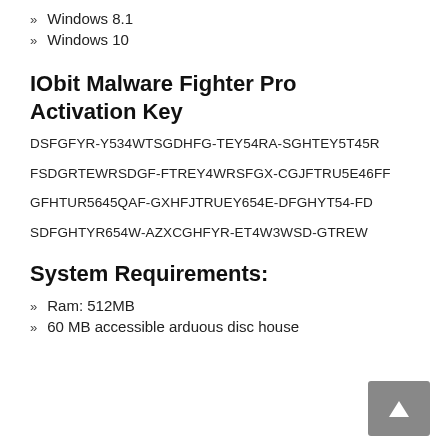» Windows 8.1
» Windows 10
IObit Malware Fighter Pro Activation Key
DSFGFYR-Y534WTSGDHFG-TEY54RA-SGHTEY5T45R
FSDGRTEWRSDGF-FTREY4WRSFGX-CGJFTRU5E46FF
GFHTUR5645QAF-GXHFJTRUEY654E-DFGHYT54-FD
SDFGHTYR654W-AZXCGHFYR-ET4W3WSD-GTREW
System Requirements:
» Ram: 512MB
» 60 MB accessible arduous disc house